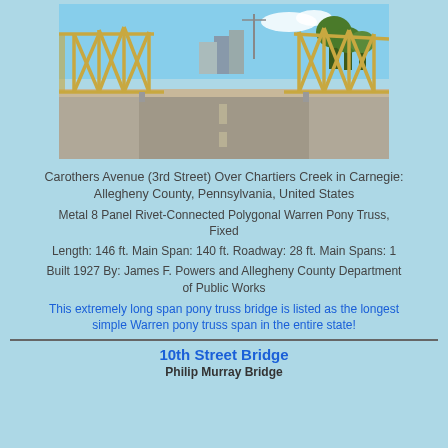[Figure (photo): Photograph of a metal pony truss bridge taken from road level, showing the yellow/tan truss structure on both sides of the road with a street and buildings visible in the background under a blue sky.]
Carothers Avenue (3rd Street) Over Chartiers Creek in Carnegie: Allegheny County, Pennsylvania, United States
Metal 8 Panel Rivet-Connected Polygonal Warren Pony Truss, Fixed
Length: 146 ft. Main Span: 140 ft. Roadway: 28 ft. Main Spans: 1
Built 1927 By: James F. Powers and Allegheny County Department of Public Works
This extremely long span pony truss bridge is listed as the longest simple Warren pony truss span in the entire state!
10th Street Bridge
Philip Murray Bridge